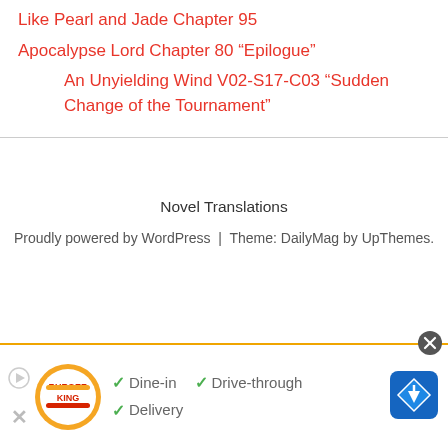Like Pearl and Jade Chapter 95
Apocalypse Lord Chapter 80 “Epilogue”
An Unyielding Wind V02-S17-C03 “Sudden Change of the Tournament”
Novel Translations
Proudly powered by WordPress | Theme: DailyMag by UpThemes.
[Figure (infographic): Burger King advertisement banner showing logo, with checkmarks for Dine-in, Drive-through, and Delivery, plus a navigation map icon on the right.]